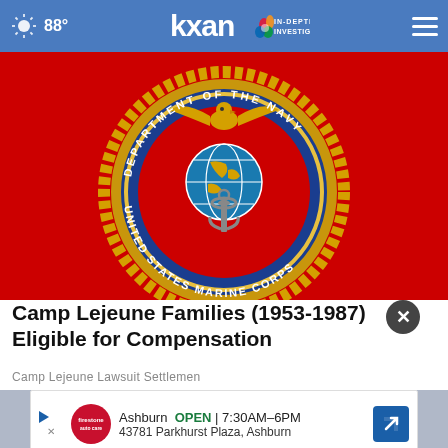88° kxan IN-DEPTH INVESTIGATIVE
[Figure (photo): United States Marine Corps seal on a red background. Blue circular seal with gold eagle, globe and anchor emblem, surrounded by text 'DEPARTMENT OF THE NAVY · UNITED STATES MARINE CORPS' with rope border.]
Camp Lejeune Families (1953-1987) Eligible for Compensation
Camp Lejeune Lawsuit Settlemen
[Figure (photo): Partially visible advertisement banner for Firestone Auto Care in Ashburn, showing store hours OPEN 7:30AM–6PM and address 43781 Parkhurst Plaza, Ashburn with navigation arrow icon.]